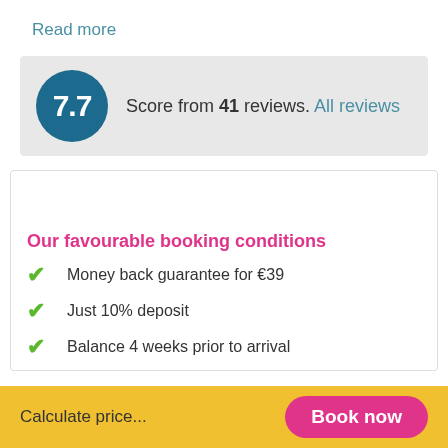Read more
Score from 41 reviews. All reviews
Our favourable booking conditions
Money back guarantee for €39
Just 10% deposit
Balance 4 weeks prior to arrival
Calculate price...
Book now